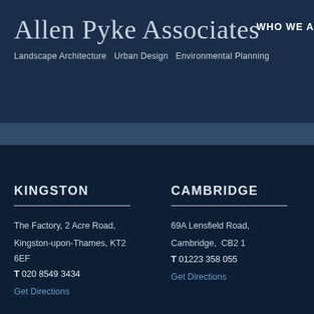Allen Pyke Associates
Landscape Architecture   Urban Design   Environmental Planning
WHO WE A
KINGSTON
The Factory, 2 Acre Road,
Kingston-upon-Thames, KT2 6EF
T 020 8549 3434
Get Directions
CAMBRIDGE
69A Lensfield Road,
Cambridge,  CB2 1
T 01223 358 055
Get Directions